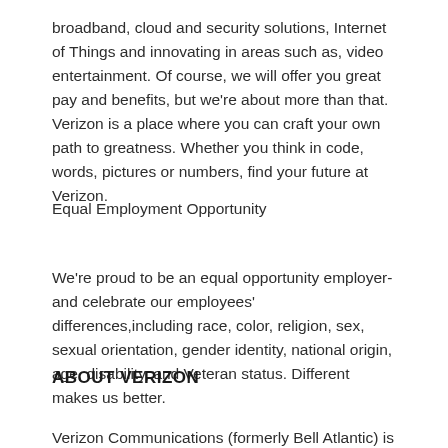broadband, cloud and security solutions, Internet of Things and innovating in areas such as, video entertainment. Of course, we will offer you great pay and benefits, but we're about more than that. Verizon is a place where you can craft your own path to greatness. Whether you think in code, words, pictures or numbers, find your future at Verizon.
Equal Employment Opportunity
We're proud to be an equal opportunity employer- and celebrate our employees' differences,including race, color, religion, sex, sexual orientation, gender identity, national origin, age, disability, and Veteran status. Different makes us better.
ABOUT VERIZON
Verizon Communications (formerly Bell Atlantic) is a company providing communications, information, and